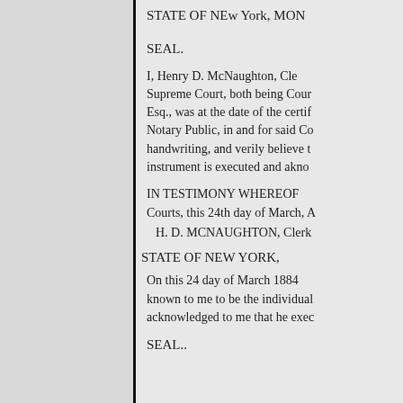STATE OF NEw York, MON
SEAL.
I, Henry D. McNaughton, Cle Supreme Court, both being Cour Esq., was at the date of the certif Notary Public, in and for said Co handwriting, and verily believe t instrument is executed and ackno
IN TESTIMONY WHEREOF Courts, this 24th day of March, A
H. D. MCNAUGHTON, Clerk
STATE OF NEW YORK,
On this 24 day of March 1884 known to me to be the individual acknowledged to me that he exec
SEAL..